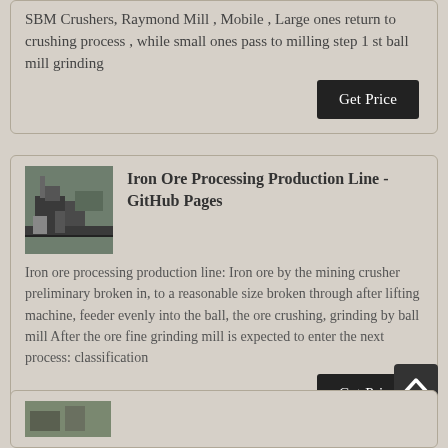SBM Crushers, Raymond Mill, Mobile , Large ones return to crushing process , while small ones pass to milling step 1 st ball mill grinding
[Figure (photo): Industrial iron ore processing machinery/crusher equipment inside a building]
Iron Ore Processing Production Line - GitHub Pages
Iron ore processing production line: Iron ore by the mining crusher preliminary broken in, to a reasonable size broken through after lifting machine, feeder evenly into the ball, the ore crushing, grinding by ball mill After the ore fine grinding mill is expected to enter the next process: classification
[Figure (photo): Partial view of mining/processing equipment (stub at bottom of page)]